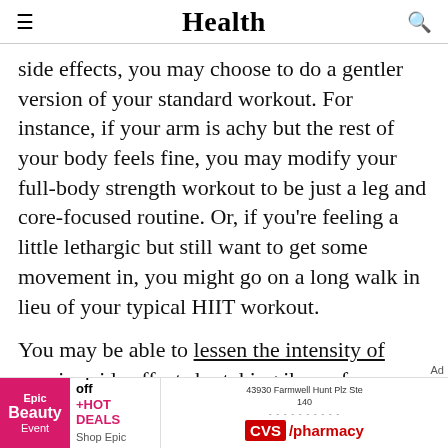Health
side effects, you may choose to do a gentler version of your standard workout. For instance, if your arm is achy but the rest of your body feels fine, you may modify your full-body strength workout to be just a leg and core-focused routine. Or, if you're feeling a little lethargic but still want to get some movement in, you might go on a long walk in lieu of your typical HIIT workout.
You may be able to lessen the intensity of vaccine side effects by taking ibuprofen, acetaminophen, aspirin, or antihistamines, per
[Figure (screenshot): Advertisement banner: Epic Beauty Event (up to 40% off +HOT DEALS, Shop Epic deals) and CVS/pharmacy ad with address 43930 Farmwell Hunt Plz Ste 140]